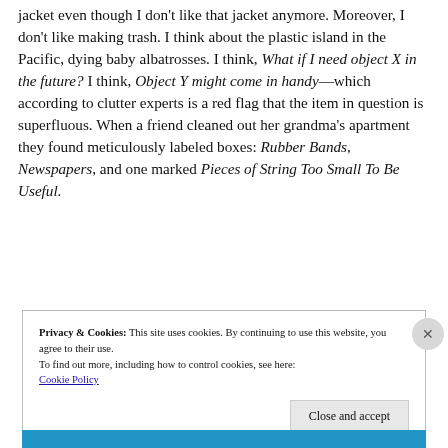jacket even though I don't like that jacket anymore. Moreover, I don't like making trash. I think about the plastic island in the Pacific, dying baby albatrosses. I think, What if I need object X in the future? I think, Object Y might come in handy—which according to clutter experts is a red flag that the item in question is superfluous. When a friend cleaned out her grandma's apartment they found meticulously labeled boxes: Rubber Bands, Newspapers, and one marked Pieces of String Too Small To Be Useful.
Privacy & Cookies: This site uses cookies. By continuing to use this website, you agree to their use. To find out more, including how to control cookies, see here: Cookie Policy
Close and accept